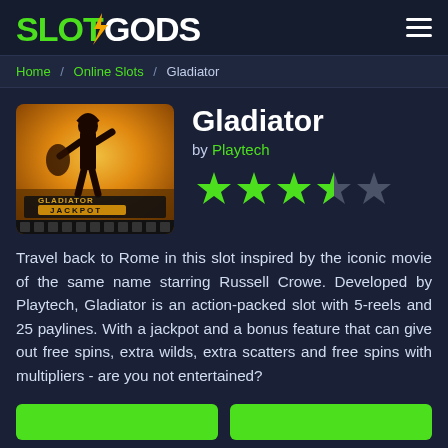SLOTGODS
Home / Online Slots / Gladiator
[Figure (photo): Gladiator slot game thumbnail showing a gladiator silhouette against a golden sky with 'GLADIATOR JACKPOT' text]
Gladiator
by Playtech
[Figure (other): Star rating showing 3.5 out of 5 green stars]
Travel back to Rome in this slot inspired by the iconic movie of the same name starring Russell Crowe. Developed by Playtech, Gladiator is an action-packed slot with 5-reels and 25 paylines. With a jackpot and a bonus feature that can give out free spins, extra wilds, extra scatters and free spins with multipliers - are you not entertained?